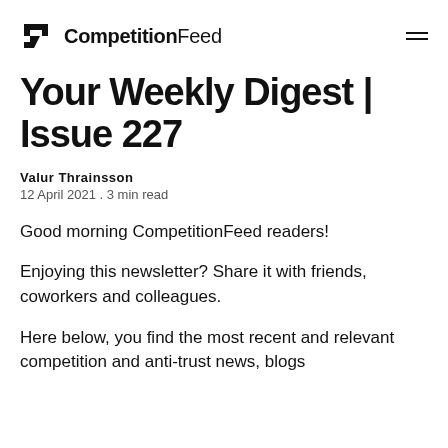CompetitionFeed
Your Weekly Digest | Issue 227
Valur Thrainsson
12 April 2021 . 3 min read
Good morning CompetitionFeed readers!
Enjoying this newsletter? Share it with friends, coworkers and colleagues.
Here below, you find the most recent and relevant competition and anti-trust news, blogs